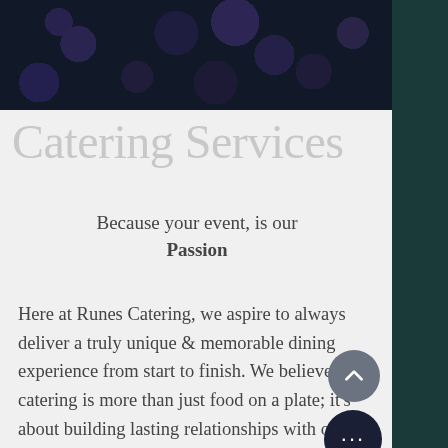[Figure (photo): Dark close-up photo of blueberries, navy/dark tones]
Catering Services
Because your event, is our Passion
Here at Runes Catering, we aspire to always deliver a truly unique & memorable dining experience from start to finish. We believe that catering is more than just food on a plate; it's about building lasting relationships with our clients, understanding their personal & delivering mouth watering cuisine